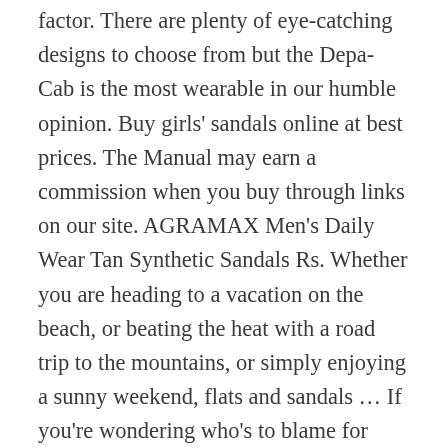factor. There are plenty of eye-catching designs to choose from but the Depa-Cab is the most wearable in our humble opinion. Buy girls' sandals online at best prices. The Manual may earn a commission when you buy through links on our site. AGRAMAX Men's Daily Wear Tan Synthetic Sandals Rs. Whether you are heading to a vacation on the beach, or beating the heat with a road trip to the mountains, or simply enjoying a sunny weekend, flats and sandals … If you're wondering who's to blame for bringing chunky casual sandals back into the spotlight, look no further than Suicoke. Sandals for men are making a big comeback. You thought we were going to pen an entire article about the best sandals without mentioning Birkenstock? These maximal slides capitalize on the enduring logo-mania craze. As our name implies, we offer a suite of expert guides on a wide range of topics, including fashion, food, drink